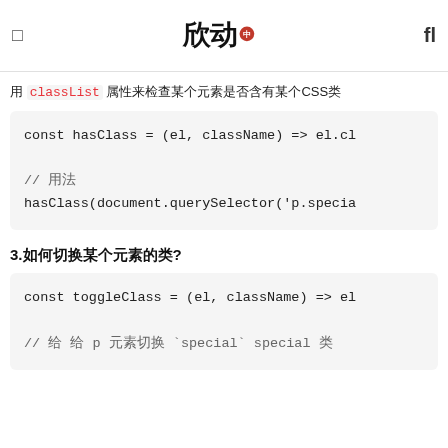欣动
用 classList 属性来检查某个元素是否含有某个CSS类
[Figure (screenshot): Code block showing: const hasClass = (el, className) => el.cl   // 用法  hasClass(document.querySelector('p.specia]
3.如何切换某个元素的类?
[Figure (screenshot): Code block showing: const toggleClass = (el, className) => el   // 给 给 p 元素切换 `special` special 类]